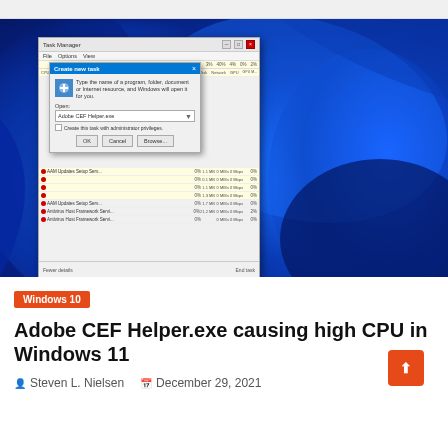[Figure (screenshot): Windows 11 desktop screenshot showing Task Manager with a 'Create new task' dialog box open. The dialog shows a text field containing 'Adobe CEF Helper.exe'. The background shows Windows 11 blue swirl wallpaper. The Task Manager shows process list with CPU, Memory, Disk, Network columns.]
Windows 10
Adobe CEF Helper.exe causing high CPU in Windows 11
Steven L. Nielsen   December 29, 2021